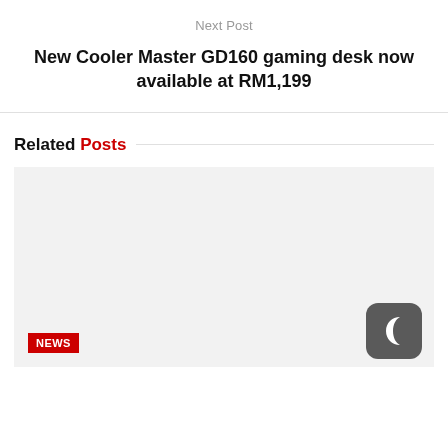Next Post
New Cooler Master GD160 gaming desk now available at RM1,199
Related Posts
[Figure (illustration): Light gray placeholder image with a red NEWS badge in the bottom-left and a dark gray rounded square icon with a crescent moon symbol in the bottom-right]